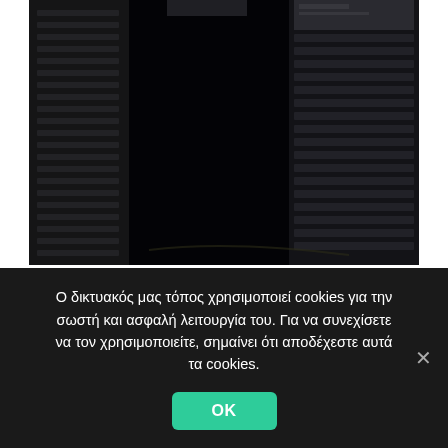[Figure (photo): Dark photograph of a computer case/server rack with louvered panels on the left side and horizontal ventilation slats on the right side, interior lit dimly in dark blue/black tones]
Ο δικτυακός μας τόπος χρησιμοποιεί cookies για την σωστή και ασφαλή λειτουργία του. Για να συνεχίσετε να τον χρησιμοποιείτε, σημαίνει ότι αποδέχεστε αυτά τα cookies.